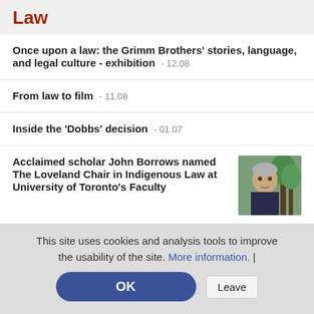Law
Once upon a law: the Grimm Brothers' stories, language, and legal culture - exhibition - 12.08
From law to film - 11.08
Inside the 'Dobbs' decision - 01.07
Acclaimed scholar John Borrows named The Loveland Chair in Indigenous Law at University of Toronto's Faculty
[Figure (photo): Headshot of John Borrows, a man with grey hair wearing a dark jacket, photographed outdoors near trees.]
This site uses cookies and analysis tools to improve the usability of the site. More information. |
OK | Leave